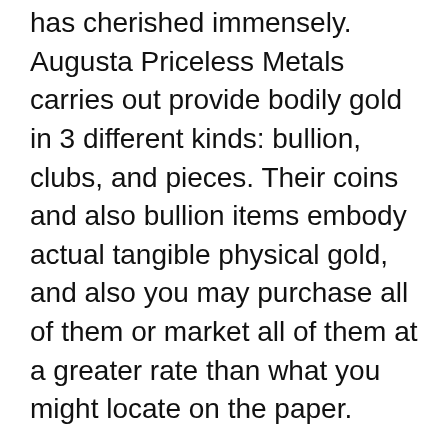has cherished immensely. Augusta Priceless Metals carries out provide bodily gold in 3 different kinds: bullion, clubs, and pieces. Their coins and also bullion items embody actual tangible physical gold, and also you may purchase all of them or market all of them at a greater rate than what you might locate on the paper.
Irs Approved Gold Ira Custodians
Silver and also gold give satisfaction and security to people. It is actually no wonder that these metals are taken into consideration to become United States's amount of money through many. Augusta Priceless Metals is an on the web precious metal store that offers low premiums on a